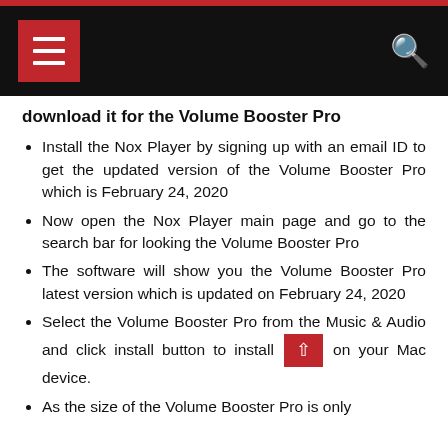[Figure (screenshot): Black navigation bar with red hamburger menu icon on left and white search icon on right]
download it for the Volume Booster Pro
Install the Nox Player by signing up with an email ID to get the updated version of the Volume Booster Pro which is February 24, 2020
Now open the Nox Player main page and go to the search bar for looking the Volume Booster Pro
The software will show you the Volume Booster Pro latest version which is updated on February 24, 2020
Select the Volume Booster Pro from the Music & Audio and click install button to install on your Mac device.
As the size of the Volume Booster Pro is only